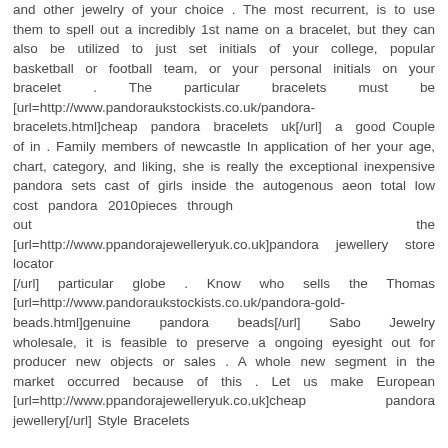and other jewelry of your choice . The most recurrent, is to use them to spell out a incredibly 1st name on a bracelet, but they can also be utilized to just set initials of your college, popular basketball or football team, or your personal initials on your bracelet . The particular bracelets must be [url=http://www.pandoraukstockists.co.uk/pandora-bracelets.html]cheap pandora bracelets uk[/url] a good Couple of in . Family members of newcastle In application of her your age, chart, category, and liking, she is really the exceptional inexpensive pandora sets cast of girls inside the autogenous aeon total low cost pandora 2010pieces through out the [url=http://www.ppandorajewelleryuk.co.uk]pandora jewellery store locator
[/url] particular globe . Know who sells the Thomas [url=http://www.pandoraukstockists.co.uk/pandora-gold-beads.html]genuine pandora beads[/url] Sabo Jewelry wholesale, it is feasible to preserve a ongoing eyesight out for producer new objects or sales . A whole new segment in the market occurred because of this . Let us make European [url=http://www.ppandorajewelleryuk.co.uk]cheap pandora jewellery[/url] Style Bracelets